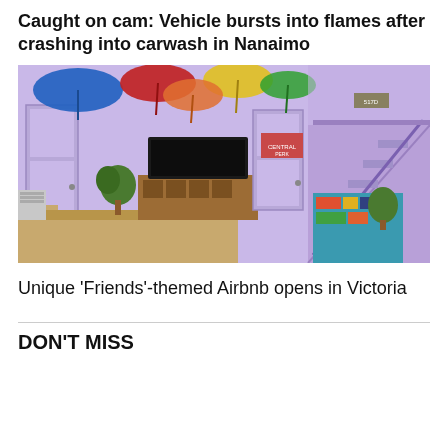Caught on cam: Vehicle bursts into flames after crashing into carwash in Nanaimo
[Figure (photo): Interior of a Friends TV show-themed Airbnb with purple walls, colorful umbrellas hanging from the ceiling, a large TV on a wooden console, a tan sofa, a bookshelf under purple stairs with plants and decorative items.]
Unique 'Friends'-themed Airbnb opens in Victoria
DON'T MISS